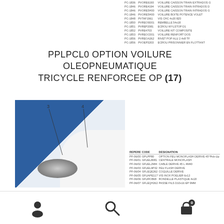PC-1836 PVORE6193 VOILURE CAISSON TRAIN EXTRADOS G
PC-1846 PVORE4194 VOILURE CAISSON TRAIN INTRADOS D
PC-1846 PVORE5H00 VOILURE CAISSON TRAIN INTRADOS G
PC-1846 PVORE5H00 VOILURE BOITE POTENCE VOLET
PC-1848 PVTAF1961 VIS CHC 4x20 8Z0
PC-1850 PVREOTHO1 REMBELLE 54x18
PC-1851 PVREP2081 ECROU WYLSTOP D1
PC-1852 PVRE4703 VOILURE KIT COMPOSITE
PC-1853 PVREOC001 VOILURE RENFORT DOS
PC-1856 PVREOA262 RIVET POP ALU 2.4x8 TF
PC-1856 PVOEP3203 ECROU PRISONNIER EN FLOTTANT
PPLPCL0 OPTION VOILURE OLEOPNEUMATIQUE TRICYCLE RENFORCEE OP (17)
[Figure (photo): Close-up photo of aircraft landing gear/wheel assembly showing a blue structural component and white aerodynamic fairing with a chrome wheel hub. Callout numbers 3 and 4 with leader lines indicate specific parts.]
| REPERE | CODE | DESIGNATION |
| --- | --- | --- |
| PF-06/00 | GPLPP80 | OPTION FEU MONOFLASH DERIVE 45°Pick-Up |
| PF-06/01 | GFUEL8081 | CENTRALE MONOFLASH |
| PF-06/02 | GFUEL2984 | CABLE DERIVE 45 L 4M40 |
| PF-06/03 | GFUEL9P32 | FEU FLASH DERIVE |
| PF-06/04 | GFLEQE262 | COQUILLE DERIVE |
| PF-06/05 | GFUAPE117 | VIS INOX POELIER 6x12 |
| PF-06/06 | GFURO868 | RONDELLE PLASTIQUE 4x18 |
| PF-06/07 | GFLEQH262 | PASSE FILS D10x16 EP 9MM |